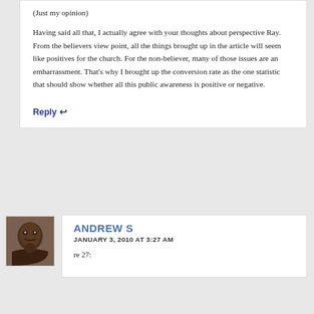(Just my opinion)
Having said all that, I actually agree with your thoughts about perspective Ray. From the believers view point, all the things brought up in the article will seem like positives for the church. For the non-believer, many of those issues are an embarrassment. That's why I brought up the conversion rate as the one statistic that should show whether all this public awareness is positive or negative.
Reply ↩
[Figure (photo): Avatar photo of Andrew S, a man looking at the camera]
ANDREW S
JANUARY 3, 2010 AT 3:27 AM
re 27: